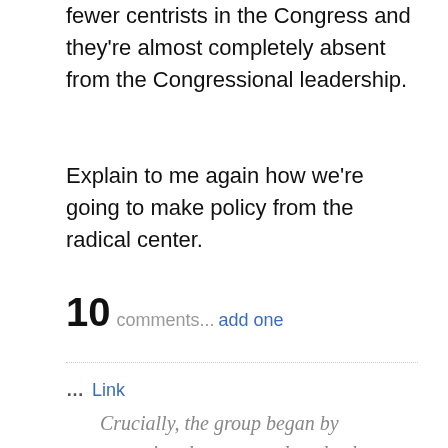fewer centrists in the Congress and they're almost completely absent from the Congressional leadership.
Explain to me again how we're going to make policy from the radical center.
10 comments... add one
… Link
Crucially, the group began by accepting three general truths that often derail debate before it begins: Able-bodied adults should work, two committed parents are better than one, and schools must do more to prepare students for